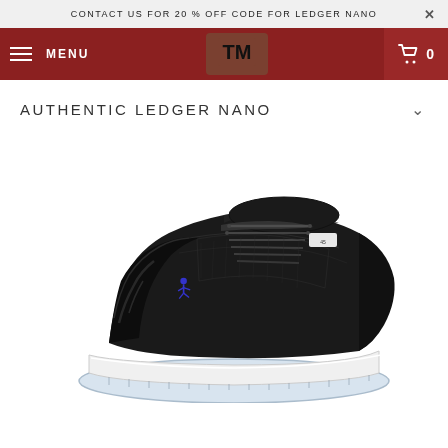CONTACT US FOR 20 % OFF CODE FOR LEDGER NANO
[Figure (screenshot): Website navigation bar with hamburger menu icon, MENU text, TM logo in brown/red box, and shopping cart icon with 0 count on dark red background]
AUTHENTIC LEDGER NANO
[Figure (photo): Air Jordan 11 sneaker in black colorway with blue Jumpman logo, patent leather toe box, white midsole and icy blue translucent outsole]